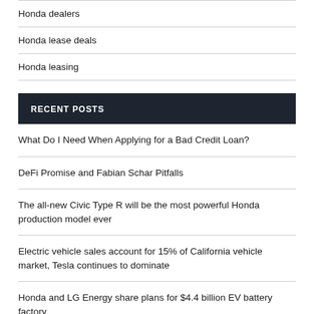Honda dealers
Honda lease deals
Honda leasing
RECENT POSTS
What Do I Need When Applying for a Bad Credit Loan?
DeFi Promise and Fabian Schar Pitfalls
The all-new Civic Type R will be the most powerful Honda production model ever
Electric vehicle sales account for 15% of California vehicle market, Tesla continues to dominate
Honda and LG Energy share plans for $4.4 billion EV battery factory